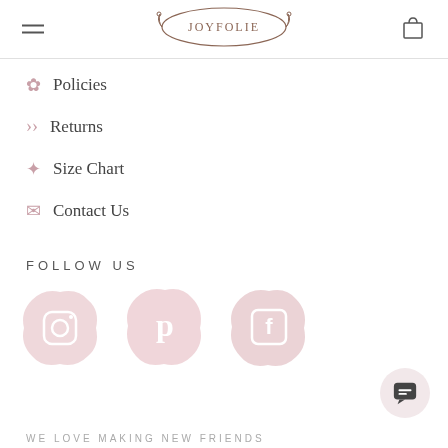[Figure (logo): Joyfolie logo in an ornate oval border with decorative flourishes]
Policies
Returns
Size Chart
Contact Us
FOLLOW US
[Figure (illustration): Three social media icons (Instagram, Pinterest, Facebook) rendered as pink watercolor blob shapes]
WE LOVE MAKING NEW FRIENDS